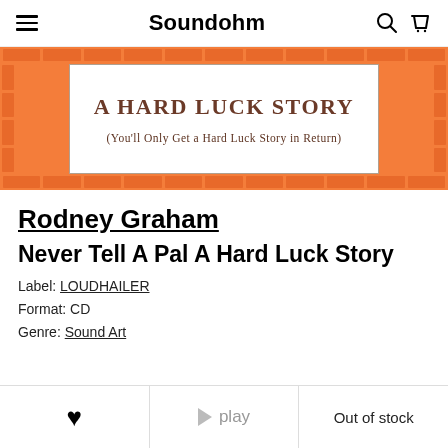Soundohm
[Figure (illustration): Album cover art for 'A Hard Luck Story (You'll Only Get a Hard Luck Story in Return)' by Rodney Graham. White box with orange brick border. Brown serif text on white background reading 'A HARD LUCK STORY' and subtitle '(You'll Only Get a Hard Luck Story in Return)'.]
Rodney Graham
Never Tell A Pal A Hard Luck Story
Label: LOUDHAILER
Format: CD
Genre: Sound Art
♥   ▶ play   Out of stock